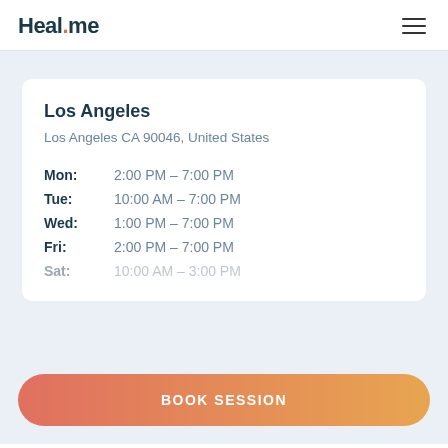Heal.me
Los Angeles
Los Angeles CA 90046, United States
| Day | Hours |
| --- | --- |
| Mon: | 2:00 PM – 7:00 PM |
| Tue: | 10:00 AM – 7:00 PM |
| Wed: | 1:00 PM – 7:00 PM |
| Fri: | 2:00 PM – 7:00 PM |
| Sat: | 10:00 AM – 3:00 PM |
BOOK SESSION